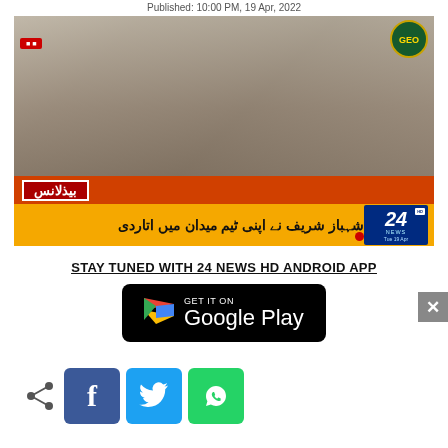Published: 10:00 PM, 19 Apr, 2022
[Figure (screenshot): TV news screenshot showing men in suits at a formal gathering, with Urdu breaking news ticker on 24 News HD channel. Ticker reads: شہباز شریف نے اپنی ٹیم میدان میں اتاردی. Date shown: Tue 19 Apr]
STAY TUNED WITH 24 NEWS HD ANDROID APP
[Figure (logo): Google Play Store download button badge with Play icon and text GET IT ON Google Play]
[Figure (illustration): Social sharing row with share icon, Facebook button (f), Twitter button (bird), WhatsApp button (phone)]